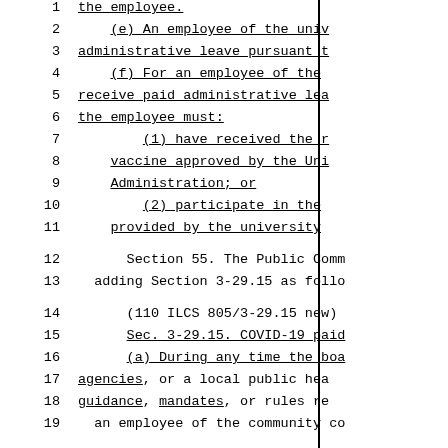1   the employee.
2       (e) An employee of the univ
3   administrative leave pursuant t
4       (f) For an employee of the
5   receive paid administrative lea
6   the employee must:
7           (1) have received the r
8       vaccine approved by the Uni
9       Administration; or
10          (2) participate in the
11      provided by the university
12      Section 55. The Public Comm
13  adding Section 3-29.15 as follo
14      (110 ILCS 805/3-29.15 new)
15      Sec. 3-29.15. COVID-19 paid
16      (a) During any time the boa
17  agencies, or a local public hea
18  guidance, mandates, or rules re
19  an employee of the community co